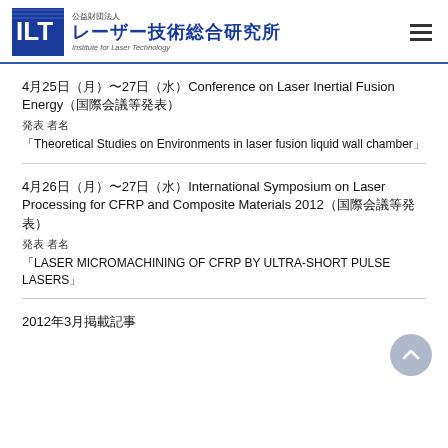公益財団法人 レーザー技術総合研究所 Institute for Laser Technology
4月25日 (月) 〜27日 (水) Conference on Laser Inertial Fusion Energy (国際会議等発表)
発表 者名
「Theoretical Studies on Environments in laser fusion liquid wall chamber」
4月26日 (月) 〜27日 (水) International Symposium on Laser Processing for CFRP and Composite Materials 2012 (国際会議等発表)
発表 者名
「LASER MICROMACHINING OF CFRP BY ULTRA-SHORT PULSE LASERS」
2012年3月掲載記事